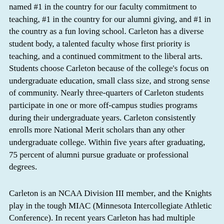named #1 in the country for our faculty commitment to teaching, #1 in the country for our alumni giving, and #1 in the country as a fun loving school. Carleton has a diverse student body, a talented faculty whose first priority is teaching, and a continued commitment to the liberal arts. Students choose Carleton because of the college's focus on undergraduate education, small class size, and strong sense of community. Nearly three-quarters of Carleton students participate in one or more off-campus studies programs during their undergraduate years. Carleton consistently enrolls more National Merit scholars than any other undergraduate college. Within five years after graduating, 75 percent of alumni pursue graduate or professional degrees.
Carleton is an NCAA Division III member, and the Knights play in the tough MIAC (Minnesota Intercollegiate Athletic Conference). In recent years Carleton has had multiple players go on to play professionally overseas, and has had seven all-Region award winners in just the past three years.  Our roster is made up of young men from all over the country who excel both in the classroom and on the playing field.  The program is competitive and for several years has been continually improving, as the past three graduating classes have all set new school records for wins in their career.